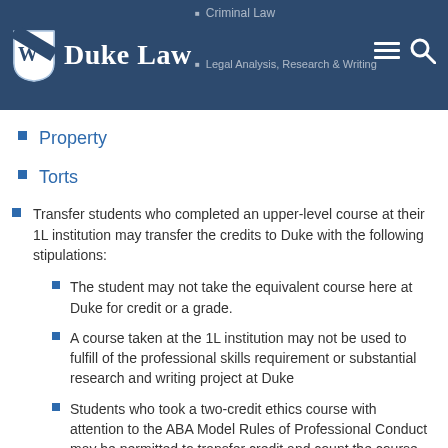Duke Law — Criminal Law, Legal Analysis, Research & Writing
Property
Torts
Transfer students who completed an upper-level course at their 1L institution may transfer the credits to Duke with the following stipulations:
The student may not take the equivalent course here at Duke for credit or a grade.
A course taken at the 1L institution may not be used to fulfill of the professional skills requirement or substantial research and writing project at Duke
Students who took a two-credit ethics course with attention to the ABA Model Rules of Professional Conduct may be permitted to transfer credit and count the course toward the ethics requirement at